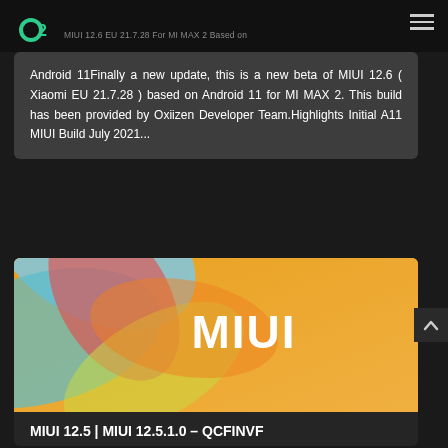MIUI 12.6 EU 21.7.28 For MI MAX 2 Based on
Android 11Finally a new update, this is a new beta of MIUI 12.6 ( Xiaomi EU 21.7.28 ) based on Android 11 for MI MAX 2. This build has been provided by Oxiizen Developer Team.Highlights Initial A11 MIUI Build July 2021...
[Figure (illustration): MIUI orange gradient banner with colorful petal/leaf design on the left side and white MIUI text centered]
MIUI 12.5 | MIUI 12.5.1.0 – QCFINVF